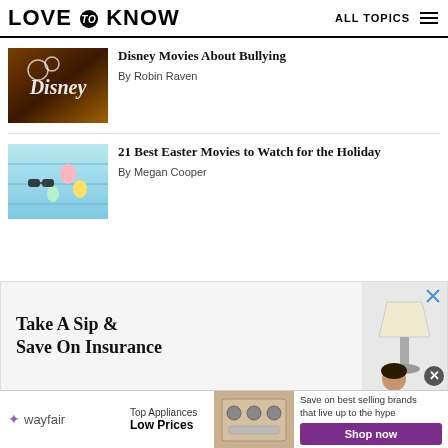LOVE to KNOW  ALL TOPICS
Disney Movies About Bullying
By Robin Raven
[Figure (photo): Disney store sign with illuminated Disney logo in warm amber/orange lighting]
21 Best Easter Movies to Watch for the Holiday
By Megan Cooper
[Figure (photo): Easter themed flat lay with sunglasses, Easter eggs, and decorations on a light blue wooden surface]
[Figure (photo): Advertisement: Take A Sip & Save On Insurance - showing a person and a lamp]
[Figure (photo): Wayfair advertisement: Top Appliances Low Prices - Save on best selling brands that live up to the hype - Shop now button]